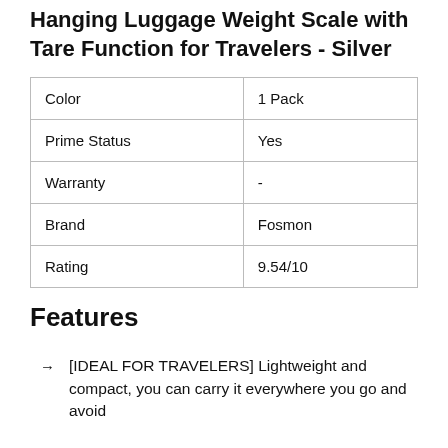Hanging Luggage Weight Scale with Tare Function for Travelers - Silver
|  |  |
| --- | --- |
| Color | 1 Pack |
| Prime Status | Yes |
| Warranty | - |
| Brand | Fosmon |
| Rating | 9.54/10 |
Features
[IDEAL FOR TRAVELERS] Lightweight and compact, you can carry it everywhere you go and avoid